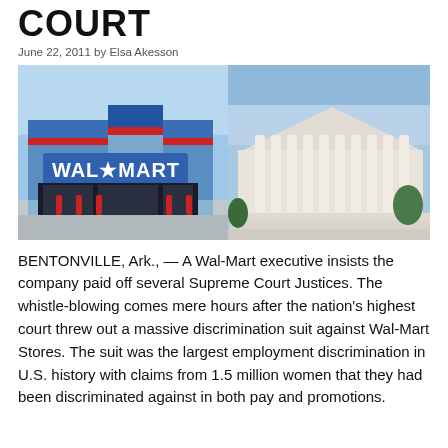COURT
June 22, 2011 by Elsa Akesson
[Figure (photo): Composite photo: left half shows a Wal-Mart store exterior with blue facade and WAL*MART sign; right half shows the U.S. Supreme Court building with white columns.]
BENTONVILLE, Ark., — A Wal-Mart executive insists the company paid off several Supreme Court Justices. The whistle-blowing comes mere hours after the nation's highest court threw out a massive discrimination suit against Wal-Mart Stores. The suit was the largest employment discrimination in U.S. history with claims from 1.5 million women that they had been discriminated against in both pay and promotions.